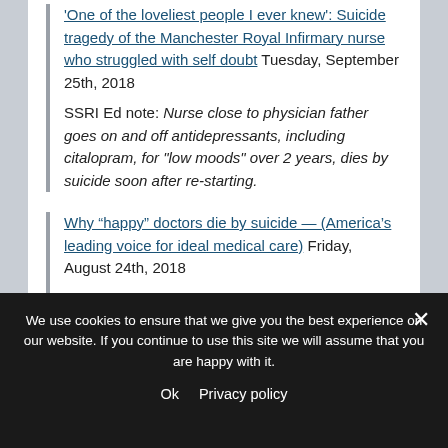'One of the loveliest people I ever knew': Suicide tragedy of the Manchester Royal Infirmary nurse who struggled with self doubt Tuesday, September 25th, 2018
SSRI Ed note: Nurse close to physician father goes on and off antidepressants, including citalopram, for "low moods" over 2 years, dies by suicide soon after re-starting.
Why “happy” doctors die by suicide — (America’s leading voice for ideal medical care) Friday, August 24th, 2018
SSRI Ed note: Psychiatrist prescribes 2 psych drugs to physician recovering from anxiolytics.
We use cookies to ensure that we give you the best experience on our website. If you continue to use this site we will assume that you are happy with it.
Ok   Privacy policy